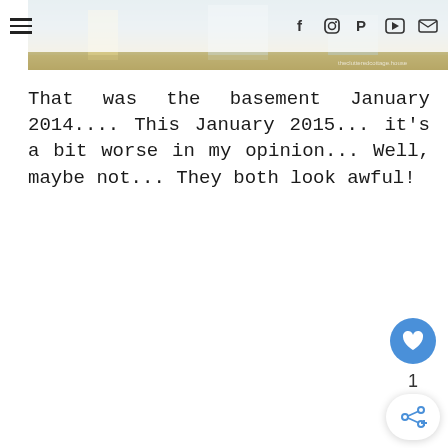Navigation bar with hamburger menu and social icons (Facebook, Instagram, Pinterest, YouTube, Email)
[Figure (photo): Partial photo of a basement, showing interior with blue/teal and warm tones, cropped at the top of the page]
That was the basement January 2014.... This January 2015... it's a bit worse in my opinion... Well, maybe not... They both look awful!